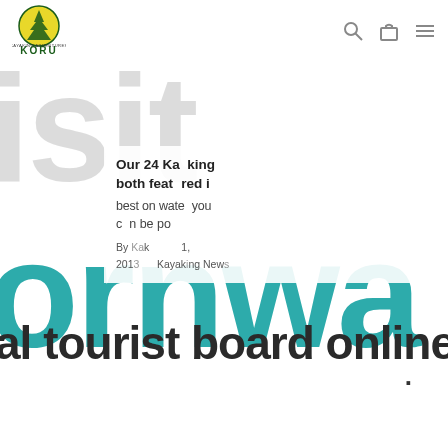[Figure (logo): Koru kayaking logo - circular logo with yellow sun and dark green tree silhouettes, with 'Koru' text below]
[Figure (screenshot): Website screenshot of Koru kayaking page featuring 'Visit Cornwall' text overlaid with a blog post card reading 'Our 24 Kayaking both featured in best on water you can be do', by Kayak, 1, 2013, Kayaking News. Large background text says 'visit' in grey and 'Cornwall' in teal. Bottom shows partial text 'al tourist board online visi']
Our 24 Kayaking both featured in
best on water you can be do
By Kayak 1, 2013 Kayaking News
al tourist board online visi